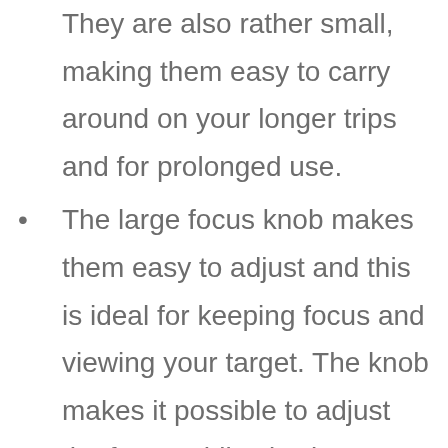They are also rather small, making them easy to carry around on your longer trips and for prolonged use.
The large focus knob makes them easy to adjust and this is ideal for keeping focus and viewing your target. The knob makes it possible to adjust the focus while viewing comfortably and with ease.
The nitrogen purged feature will reduce any fog buildup and keep the binoculars clear and easy to use. This makes it ideal for all weather...